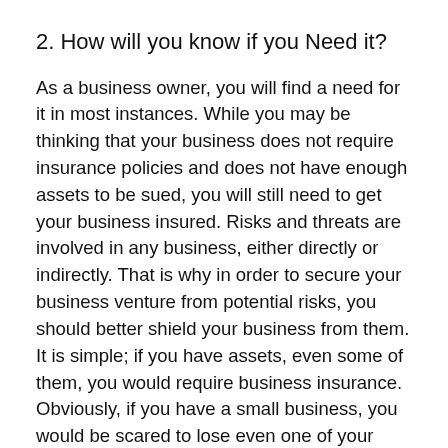2. How will you know if you Need it?
As a business owner, you will find a need for it in most instances. While you may be thinking that your business does not require insurance policies and does not have enough assets to be sued, you will still need to get your business insured. Risks and threats are involved in any business, either directly or indirectly. That is why in order to secure your business venture from potential risks, you should better shield your business from them. It is simple; if you have assets, even some of them, you would require business insurance. Obviously, if you have a small business, you would be scared to lose even one of your assets.